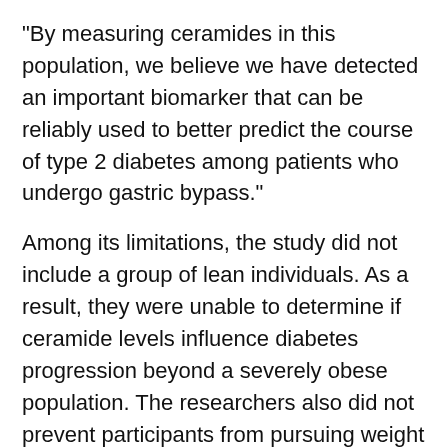"By measuring ceramides in this population, we believe we have detected an important biomarker that can be reliably used to better predict the course of type 2 diabetes among patients who undergo gastric bypass."
Among its limitations, the study did not include a group of lean individuals. As a result, they were unable to determine if ceramide levels influence diabetes progression beyond a severely obese population. The researchers also did not prevent participants from pursuing weight loss interventions or lifestyle changes beyond the scope of the study, which focused specifically on Roux-en-Y, the most common gastric bypass surgery.
While the data linking high ceramide levels to diabetes is strong, more research is needed before routine ceramide testing can be recommended, Summers says. As part of that effort, the researchers plan to analyze the